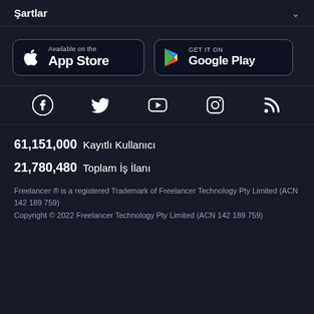Şartlar
[Figure (logo): App Store and Google Play download buttons side by side]
[Figure (infographic): Social media icons: Facebook, Twitter, YouTube, Instagram, RSS]
61,151,000  Kayıtlı Kullanıcı
21,780,480  Toplam İş İlanı
Freelancer ® is a registered Trademark of Freelancer Technology Pty Limited (ACN 142 189 759)
Copyright © 2022 Freelancer Technology Pty Limited (ACN 142 189 759)